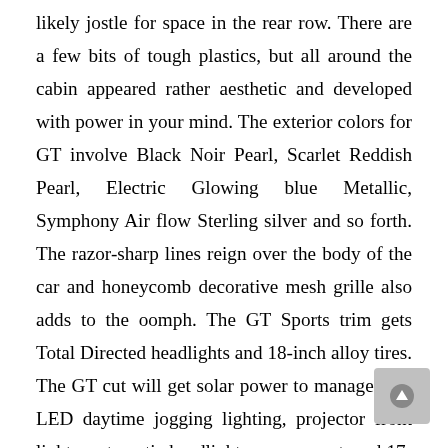likely jostle for space in the rear row. There are a few bits of tough plastics, but all around the cabin appeared rather aesthetic and developed with power in your mind. The exterior colors for GT involve Black Noir Pearl, Scarlet Reddish Pearl, Electric Glowing blue Metallic, Symphony Air flow Sterling silver and so forth. The razor-sharp lines reign over the body of the car and honeycomb decorative mesh grille also adds to the oomph. The GT Sports trim gets Total Directed headlights and 18-inch alloy tires. The GT cut will get solar power to manage cup, LED daytime jogging lighting, projector front lights, automatic headlight management, and 17-inches alloy wheels.